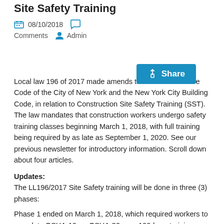Site Safety Training
08/10/2018   Comments   Admin
Local law 196 of 2017 made amends to the Administrative Code of the City of New York and the New York City Building Code, in relation to Construction Site Safety Training (SST). The law mandates that construction workers undergo safety training classes beginning March 1, 2018, with full training being required by as late as September 1, 2020. See our previous newsletter for introductory information. Scroll down about four articles.
Updates:
The LL196/2017 Site Safety training will be done in three (3) phases:
Phase 1 ended on March 1, 2018, which required workers to complete OSHA-10; or OSHA-30; or a 100-hour training program approved by the DOB.